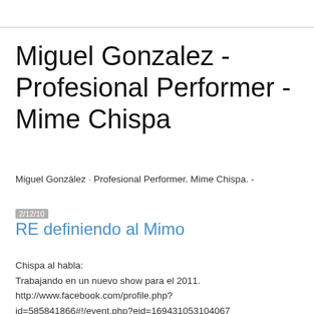Miguel Gonzalez - Profesional Performer - Mime Chispa
Miguel González · Profesional Performer. Mime Chispa. -
2/12/10
RE definiendo al Mimo
Chispa al habla:
Trabajando en un nuevo show para el 2011.
http://www.facebook.com/profile.php?id=585841866#!/event.php?eid=169431053104067
Chispa speaking: